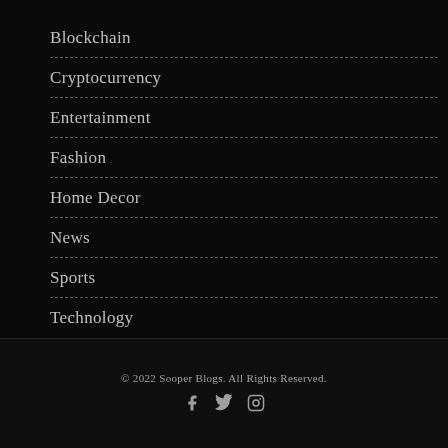Blockchain
Cryptocurrency
Entertainment
Fashion
Home Decor
News
Sports
Technology
© 2022 Sooper Blogs. All Rights Reserved.